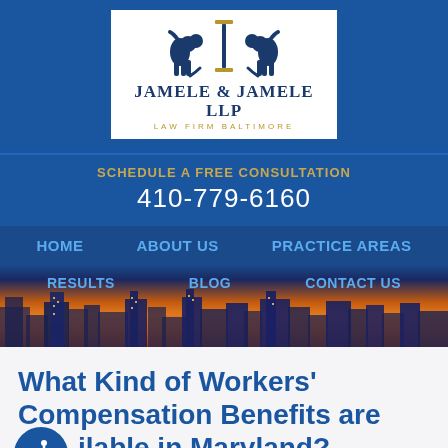[Figure (logo): Jamele & Jamele LLP Law Firm Baltimore logo with two lions flanking a column letter I on white background]
SCHEDULE A FREE CONSULTATION
410-779-6160
HOME   ABOUT US   PRACTICE AREAS
[Figure (photo): Baltimore city skyline at sunset/dusk with orange sky, with navigation menu overlay showing RESULTS, BLOG, CONTACT US]
What Kind of Workers' Compensation Benefits are Available in Maryland?